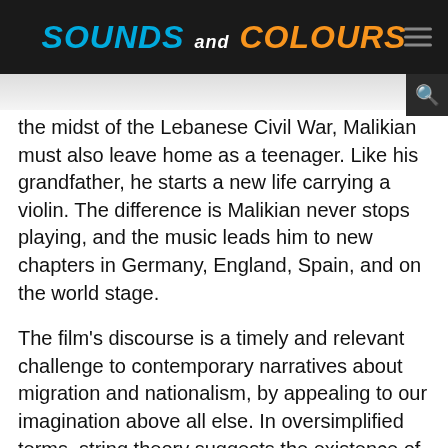SOUNDS and COLOURS
the midst of the Lebanese Civil War, Malikian must also leave home as a teenager. Like his grandfather, he starts a new life carrying a violin. The difference is Malikian never stops playing, and the music leads him to new chapters in Germany, England, Spain, and on the world stage.
The film's discourse is a timely and relevant challenge to contemporary narratives about migration and nationalism, by appealing to our imagination above all else. In oversimplified terms, string theory suggests the existence of multiple physical states that challenge our regular perceptions, infinite possibilities all existing at once like the location of a vibrating chord. This is something like Malikian's place of origin. Being from all places, being from nowhere, this is something like...